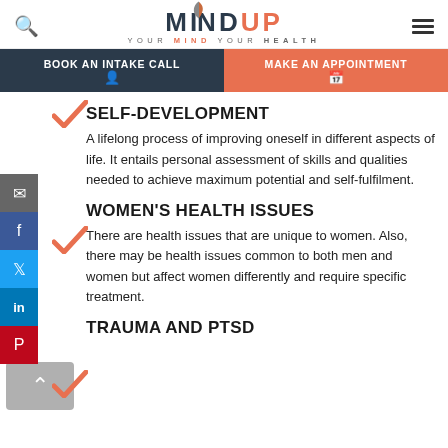MINDUP — YOUR MIND YOUR HEALTH
BOOK AN INTAKE CALL
MAKE AN APPOINTMENT
SELF-DEVELOPMENT
A lifelong process of improving oneself in different aspects of life. It entails personal assessment of skills and qualities needed to achieve maximum potential and self-fulfilment.
WOMEN'S HEALTH ISSUES
There are health issues that are unique to women. Also, there may be health issues common to both men and women but affect women differently and require specific treatment.
TRAUMA AND PTSD